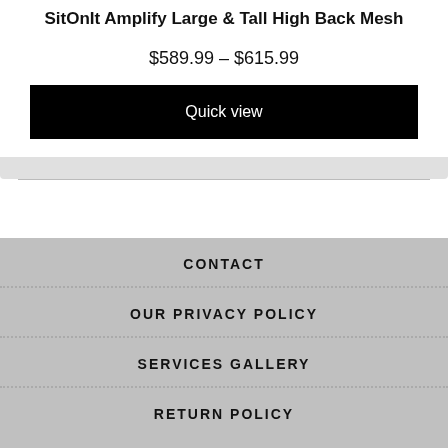SitOnIt Amplify Large & Tall High Back Mesh
$589.99 – $615.99
Quick view
CONTACT
OUR PRIVACY POLICY
SERVICES GALLERY
RETURN POLICY